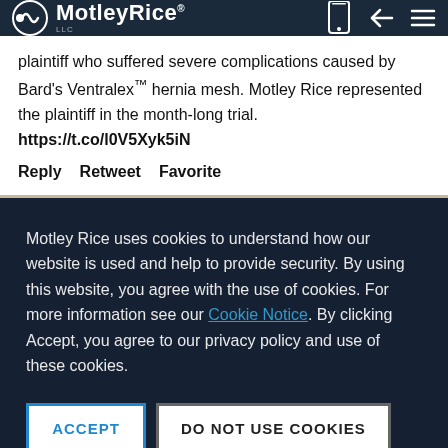MotleyRice LLC
plaintiff who suffered severe complications caused by Bard's Ventralex™ hernia mesh. Motley Rice represented the plaintiff in the month-long trial. https://t.co/l0V5Xyk5iN
Reply   Retweet   Favorite
Motley Rice uses cookies to understand how our website is used and help to provide security. By using this website, you agree with the use of cookies. For more information see our Cookie Notice. By clicking Accept, you agree to our privacy policy and use of these cookies.